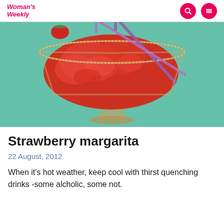Woman's Weekly
[Figure (photo): A frozen strawberry margarita in a salt-rimmed margarita glass with two purple straws, on a teal/aqua background.]
Strawberry margarita
22 August, 2012
When it's hot weather, keep cool with thirst quenching drinks -some alcholic, some not.